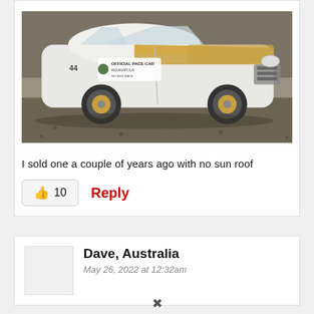[Figure (photo): White classic car labeled 'Official Pace Car' with gold/tan stripe, parked on gravel with fallen leaves.]
I sold one a couple of years ago with no sun roof
10
Reply
Dave, Australia
May 26, 2022 at 12:32am